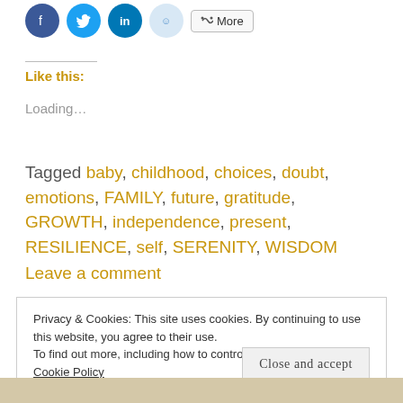[Figure (other): Social share buttons: Facebook (blue circle), Twitter (blue circle), LinkedIn (blue circle), Reddit (light blue circle), and More button]
Like this:
Loading…
Tagged baby, childhood, choices, doubt, emotions, FAMILY, future, gratitude, GROWTH, independence, present, RESILIENCE, self, SERENITY, WISDOM
Leave a comment
Privacy & Cookies: This site uses cookies. By continuing to use this website, you agree to their use.
To find out more, including how to control cookies, see here: Cookie Policy
Close and accept